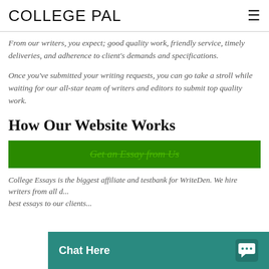COLLEGE PAL
From our writers, you expect; good quality work, friendly service, timely deliveries, and adherence to client's demands and specifications.
Once you've submitted your writing requests, you can go take a stroll while waiting for our all-star team of writers and editors to submit top quality work.
How Our Website Works
Get an Essay from Us
College Essays is the biggest affiliate and testbank for WriteDen. We hire writers from all o... best essays to our clients...